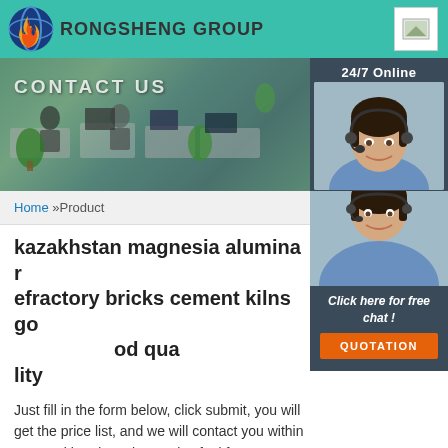RONGSHENG GROUP
[Figure (photo): Office/contact us banner image with workers at desks, with 24/7 Online label and customer service agent photo]
Home »Product
kazakhstan magnesia alumina refractory bricks cement kilns good quality
Click here for free chat! QUOTATION
Just fill in the form below, click submit, you will get the price list, and we will contact you within one working day. Please also feel free to contact us via email or phone. (* is required).